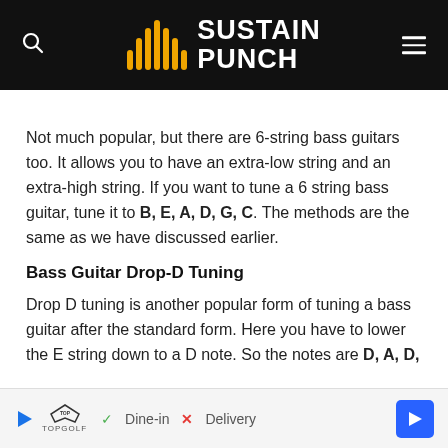SUSTAIN PUNCH
Not much popular, but there are 6-string bass guitars too. It allows you to have an extra-low string and an extra-high string. If you want to tune a 6 string bass guitar, tune it to B, E, A, D, G, C. The methods are the same as we have discussed earlier.
Bass Guitar Drop-D Tuning
Drop D tuning is another popular form of tuning a bass guitar after the standard form. Here you have to lower the E string down to a D note. So the notes are D, A, D,
[Figure (other): Advertisement banner for TopGolf showing Dine-in and Delivery options with a blue navigation arrow icon]